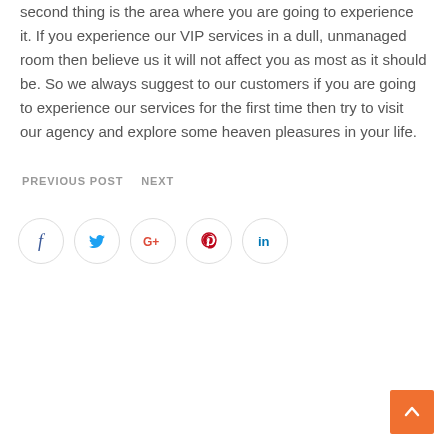second thing is the area where you are going to experience it. If you experience our VIP services in a dull, unmanaged room then believe us it will not affect you as most as it should be. So we always suggest to our customers if you are going to experience our services for the first time then try to visit our agency and explore some heaven pleasures in your life.
PREVIOUS POST   NEXT
[Figure (other): Social media share icons: Facebook, Twitter, Google+, Pinterest, LinkedIn — each in a circle outline]